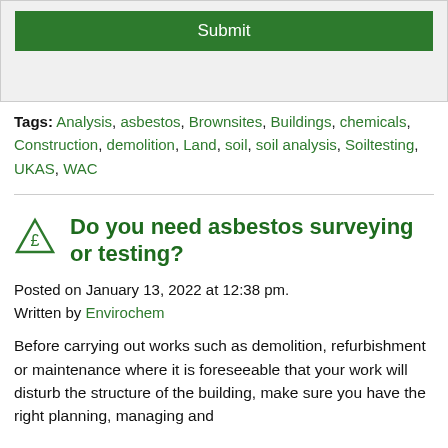[Figure (other): Green Submit button inside a light grey bordered box]
Tags: Analysis, asbestos, Brownsites, Buildings, chemicals, Construction, demolition, Land, soil, soil analysis, Soiltesting, UKAS, WAC
Do you need asbestos surveying or testing?
Posted on January 13, 2022 at 12:38 pm.
Written by Envirochem
Before carrying out works such as demolition, refurbishment or maintenance where it is foreseeable that your work will disturb the structure of the building, make sure you have the right planning, managing and